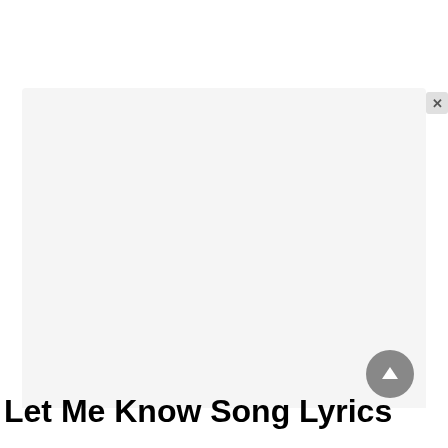[Figure (screenshot): A modal/popup overlay box with a light gray background and a close (X) button in the top-right corner. The modal content area is mostly empty/white. A gray circular scroll-to-top arrow button appears in the lower right of the modal.]
Let Me Know Song Lyrics